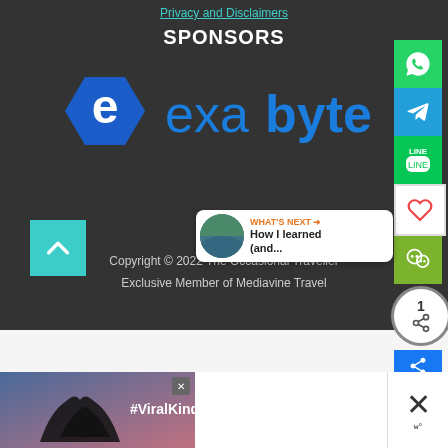Privacy and Disclaimers
SPONSORS
[Figure (logo): Exabytes logo — blue hexagon with white 'e' and blue 'exabytes' text]
Copyright © 2022 The Occasional Traveller
Exclusive Member of Mediavine Travel
[Figure (infographic): What's Next panel: thumbnail image of landscape with text 'How I learned (and...']
[Figure (photo): Ad banner with heart hands silhouette and #ViralKindness text]